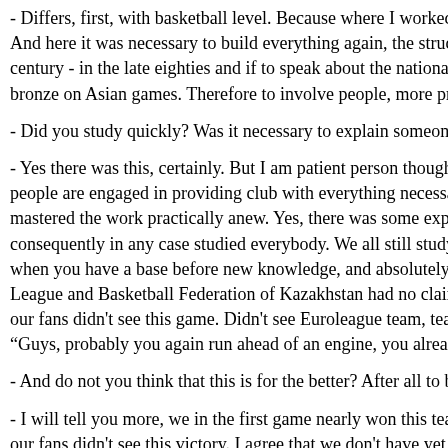- Differs, first, with basketball level. Because where I worked, leve And here it was necessary to build everything again, the structure century - in the late eighties and if to speak about the national team bronze on Asian games. Therefore to involve people, more precisely,
- Did you study quickly? Was it necessary to explain someone, repea
- Yes there was this, certainly. But I am patient person though some people are engaged in providing club with everything necessary. Ca mastered the work practically anew. Yes, there was some experien consequently in any case studied everybody. We all still study. I con when you have a base before new knowledge, and absolutely anothe League and Basketball Federation of Kazakhstan had no claims to u our fans didn't see this game. Didn't see Euroleague team, team wh "Guys, probably you again run ahead of an engine, you already mana
- And do not you think that this is for the better? After all to beat "Kh
- I will tell you more, we in the first game nearly won this team. We a our fans didn't see this victory. I agree that we don't have yet such a to sponsors of team, city akimat that gave us the opportunity to trai They still need to be learned. The biggest audience we had on a gam we try to show our each match. "Khabar" who covers 98 % of the te Also it is a pity that these people didn't see our victory, and didn't rej